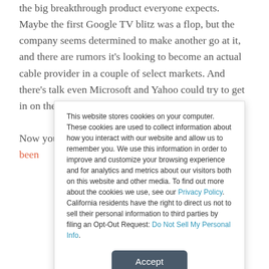the big breakthrough product everyone expects. Maybe the first Google TV blitz was a flop, but the company seems determined to make another go at it, and there are rumors it's looking to become an actual cable provider in a couple of select markets. And there's talk even Microsoft and Yahoo could try to get in on the game.

Now you can add Intel to that list too. It's reportedly been
This website stores cookies on your computer. These cookies are used to collect information about how you interact with our website and allow us to remember you. We use this information in order to improve and customize your browsing experience and for analytics and metrics about our visitors both on this website and other media. To find out more about the cookies we use, see our Privacy Policy. California residents have the right to direct us not to sell their personal information to third parties by filing an Opt-Out Request: Do Not Sell My Personal Info.